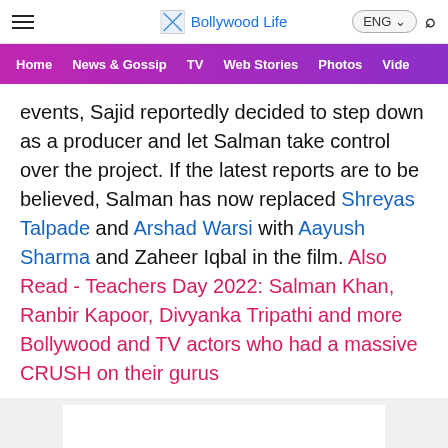Bollywood Life
Home | News & Gossip | TV | Web Stories | Photos | Video
events, Sajid reportedly decided to step down as a producer and let Salman take control over the project. If the latest reports are to be believed, Salman has now replaced Shreyas Talpade and Arshad Warsi with Aayush Sharma and Zaheer Iqbal in the film. Also Read - Teachers Day 2022: Salman Khan, Ranbir Kapoor, Divyanka Tripathi and more Bollywood and TV actors who had a massive CRUSH on their gurus